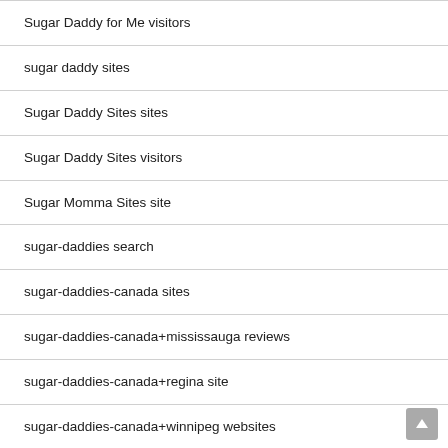Sugar Daddy for Me visitors
sugar daddy sites
Sugar Daddy Sites sites
Sugar Daddy Sites visitors
Sugar Momma Sites site
sugar-daddies search
sugar-daddies-canada sites
sugar-daddies-canada+mississauga reviews
sugar-daddies-canada+regina site
sugar-daddies-canada+winnipeg websites
sugar-daddies-usa real sugar daddy
sugar-daddies-usa sites